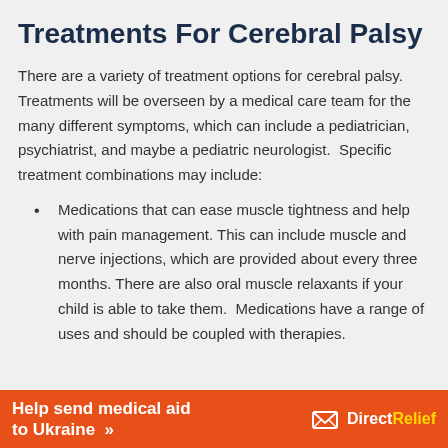Treatments For Cerebral Palsy
There are a variety of treatment options for cerebral palsy. Treatments will be overseen by a medical care team for the many different symptoms, which can include a pediatrician, psychiatrist, and maybe a pediatric neurologist.  Specific treatment combinations may include:
Medications that can ease muscle tightness and help with pain management. This can include muscle and nerve injections, which are provided about every three months. There are also oral muscle relaxants if your child is able to take them.  Medications have a range of uses and should be coupled with therapies.
[Figure (infographic): Orange banner ad reading 'Help send medical aid to Ukraine >>' with DirectRelief logo on the right]